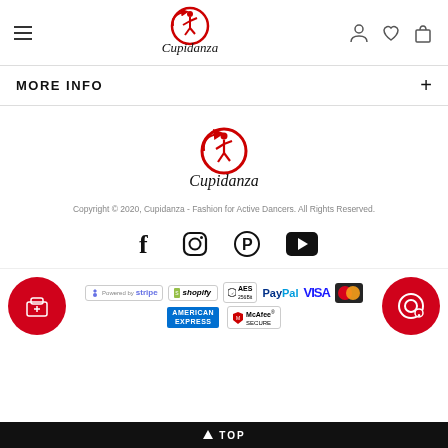[Figure (logo): Cupidanza logo in header - red circular dancer figure with script text Cupidanza]
MORE INFO +
[Figure (logo): Cupidanza logo centered - red circular dancer figure with script text Cupidanza, larger version]
Copyright © 2020, Cupidanza - Fashion for Active Dancers. All Rights Reserved.
[Figure (other): Social media icons row: Facebook, Instagram, Pinterest, YouTube]
[Figure (other): Payment logos: Stripe, Shopify Secure, AES 256bit, PayPal, VISA, Mastercard, American Express, McAfee Secure]
TOP